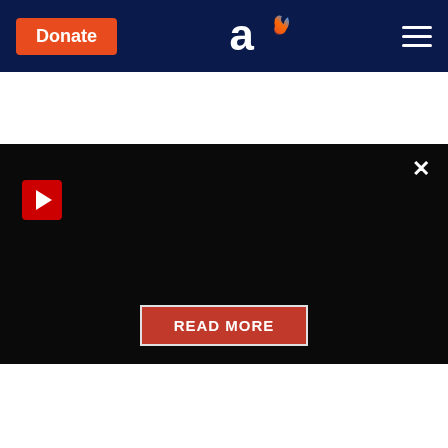[Figure (screenshot): Aish.com website header with orange Donate button, logo (stylized 'a' with flame), and hamburger menu on dark navy background]
[Figure (screenshot): Dark overlay panel with red play button, X close button, and red READ MORE button]
[Figure (infographic): Banner ad: AISH ACCEPTS CRYPTO text partially visible, ALL CRYPTO DONATIONS WILL BE MATCHED!, orange DONATE / LEARN MORE button, SUPPORT AISH AND SAVE BIG ON TAXES text, Bitcoin coin image on right, dark blue background with circular light effects]